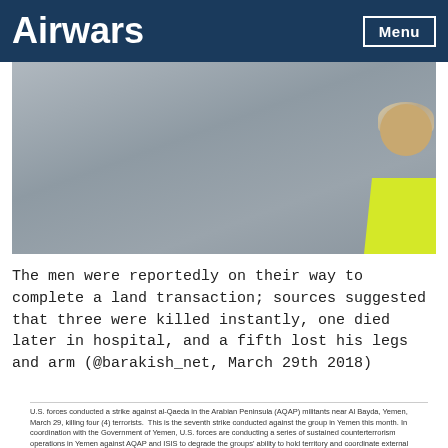Airwars
[Figure (photo): A person viewed from behind, wearing a white/beige cap and yellow shirt, standing on or near a grey road surface. The image is taken from above or at a distance showing mostly the grey road texture with the figure at the right edge.]
The men were reportedly on their way to complete a land transaction; sources suggested that three were killed instantly, one died later in hospital, and a fifth lost his legs and arm (@barakish_net, March 29th 2018)
U.S. forces conducted a strike against al-Qaeda in the Arabian Peninsula (AQAP) militants near Al Bayda, Yemen, March 29, killing four (4) terrorists. This is the seventh strike conducted against the group in Yemen this month. In coordination with the Government of Yemen, U.S. forces are conducting a series of sustained counterterrorism operations in Yemen against AQAP and ISIS to degrade the groups' ability to hold territory and coordinate external attacks.